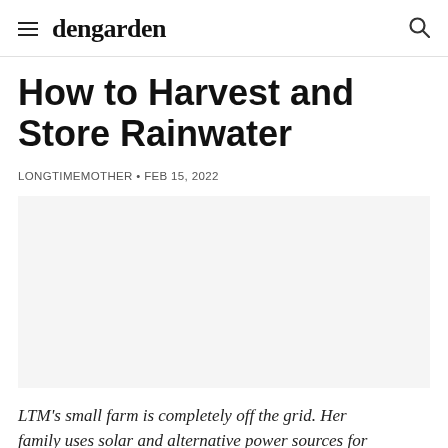dengarden
How to Harvest and Store Rainwater
LONGTIMEMOTHER • FEB 15, 2022
[Figure (photo): Article hero image placeholder, large white/light grey area]
LTM's small farm is completely off the grid. Her family uses solar and alternative power sources for